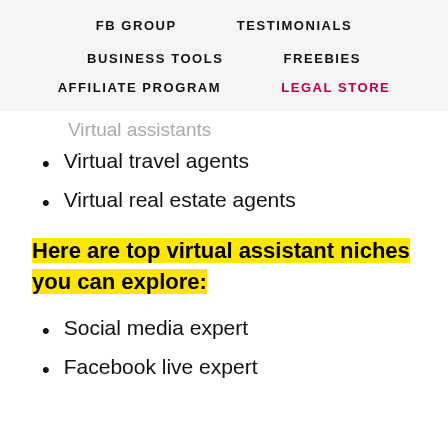FB GROUP   TESTIMONIALS
BUSINESS TOOLS   FREEBIES
AFFILIATE PROGRAM   LEGAL STORE
Virtual assistants
Virtual travel agents
Virtual real estate agents
Here are top virtual assistant niches you can explore:
Social media expert
Facebook live expert